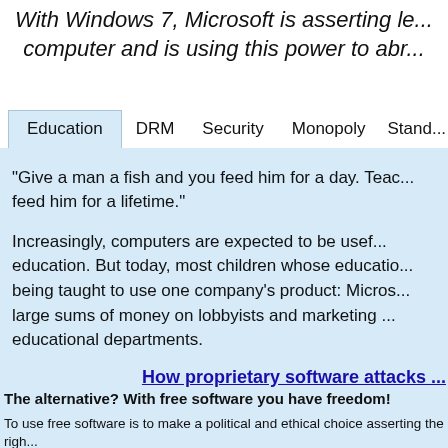With Windows 7, Microsoft is asserting le... computer and is using this power to abr...
"Give a man a fish and you feed him for a day. Teac... feed him for a lifetime."
Increasingly, computers are expected to be usef... education. But today, most children whose educatio... being taught to use one company's product: Micros... large sums of money on lobbyists and marketing ... educational departments.
How proprietary software attacks ...
The alternative? With free software you have freedom!
To use free software is to make a political and ethical choice asserting the righ...